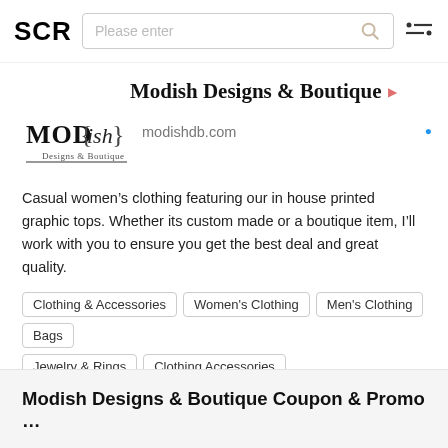SCR | Please enter | [search icon] | [menu icon]
Modish Designs & Boutique
[Figure (logo): MOD{ish} Designs & Boutique logo in black serif and script font]
modishdb.com
Casual women's clothing featuring our in house printed graphic tops. Whether its custom made or a boutique item, I'll work with you to ensure you get the best deal and great quality.
Clothing & Accessories
Women's Clothing
Men's Clothing
Bags
Jewelry & Rings
Clothing Accessories
Modish Designs & Boutique Coupon & Promo …